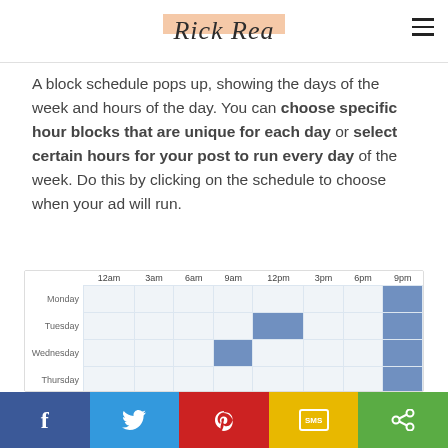Rick Rea
A block schedule pops up, showing the days of the week and hours of the day. You can choose specific hour blocks that are unique for each day or select certain hours for your post to run every day of the week. Do this by clicking on the schedule to choose when your ad will run.
[Figure (screenshot): A block schedule grid showing days of the week (Monday through Saturday visible) on the y-axis and hours of the day (12am, 3am, 6am, 9am, 12pm, 3pm, 6pm, 9pm) on the x-axis. Certain hour blocks are filled in blue indicating selected ad times.]
Social sharing buttons: Facebook, Twitter, Pinterest, SMS, Share